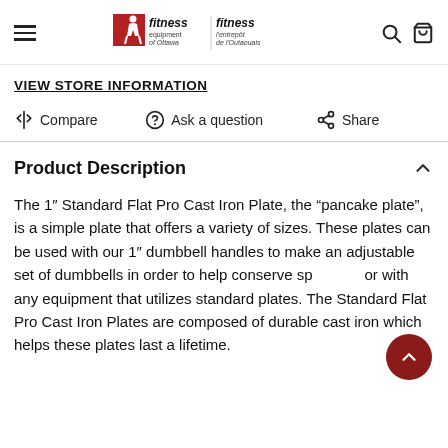Fitness Equipment of Ottawa / Fitness l'entrepôt de l'Outaouais
VIEW STORE INFORMATION
Compare   Ask a question   Share
Product Description
The 1″ Standard Flat Pro Cast Iron Plate, the "pancake plate", is a simple plate that offers a variety of sizes. These plates can be used with our 1″ dumbbell handles to make an adjustable set of dumbbells in order to help conserve space, or with any equipment that utilizes standard plates. The Standard Flat Pro Cast Iron Plates are composed of durable cast iron which helps these plates last a lifetime.